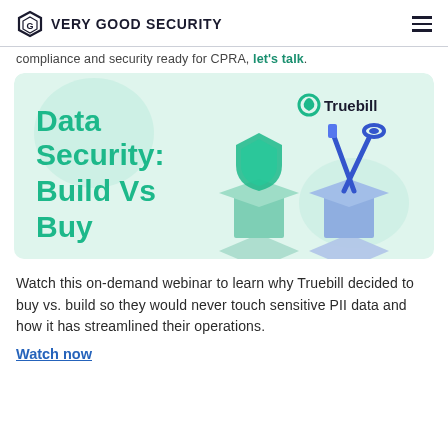VERY GOOD SECURITY
compliance and security ready for CPRA, let's talk.
[Figure (illustration): Promotional graphic for 'Data Security: Build Vs Buy' webinar featuring Truebill branding. Shows a teal shield on a pedestal and blue tools (screwdriver and wrench) on a blue pedestal against a light teal background.]
Watch this on-demand webinar to learn why Truebill decided to buy vs. build so they would never touch sensitive PII data and how it has streamlined their operations.
Watch now